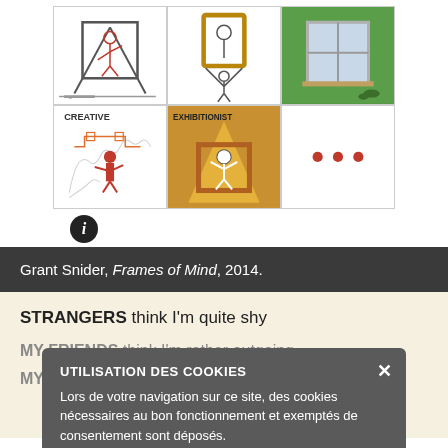[Figure (illustration): A 2x3 grid of comic panels from Grant Snider's 'Frames of Mind'. Top row: person inside a frame on an easel, person holding a frame standing up, window on a green wall. Bottom row: 'CREATIVE' panel with orange figure painting circuits, 'EXHIBITIONIST' panel with orange figure holding a frame in spotlight, and a panel with three orange dots.]
Grant Snider, Frames of Mind, 2014.
STRANGERS think I'm quite shy
MY FRIENDS think I'm rather outgoing
MY BEST FRIENDS know I'm completely insane!
UTILISATION DES COOKIES
Lors de votre navigation sur ce site, des cookies nécessaires au bon fonctionnement et exemptés de consentement sont déposés.